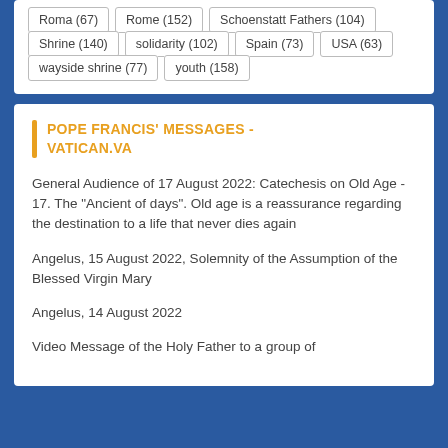Roma (67)
Rome (152)
Schoenstatt Fathers (104)
Shrine (140)
solidarity (102)
Spain (73)
USA (63)
wayside shrine (77)
youth (158)
POPE FRANCIS' MESSAGES - VATICAN.VA
General Audience of 17 August 2022: Catechesis on Old Age - 17. The "Ancient of days". Old age is a reassurance regarding the destination to a life that never dies again
Angelus, 15 August 2022, Solemnity of the Assumption of the Blessed Virgin Mary
Angelus, 14 August 2022
Video Message of the Holy Father to a group of